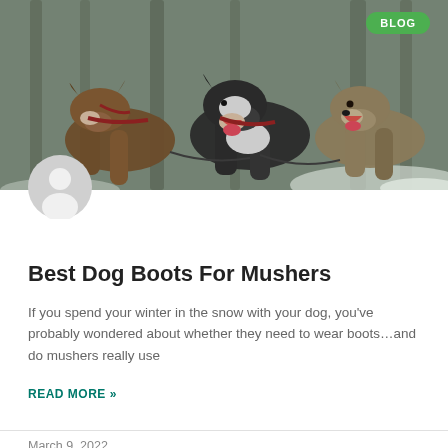[Figure (photo): Three sled dogs with harnesses and open mouths, running in a snowy forest setting.]
BLOG
[Figure (illustration): Generic user avatar icon — gray circle with white person silhouette.]
Best Dog Boots For Mushers
If you spend your winter in the snow with your dog, you've probably wondered about whether they need to wear boots…and do mushers really use
READ MORE »
March 9, 2022